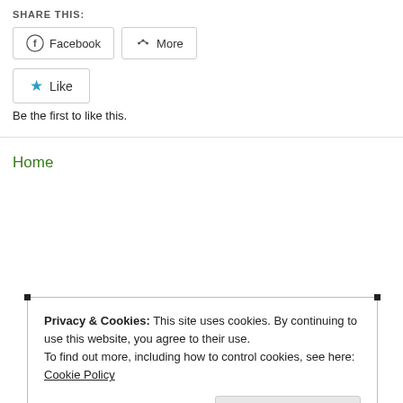SHARE THIS:
[Figure (screenshot): Social share buttons: Facebook and More]
[Figure (screenshot): Like button with star icon]
Be the first to like this.
Home
Privacy & Cookies: This site uses cookies. By continuing to use this website, you agree to their use. To find out more, including how to control cookies, see here: Cookie Policy
Close and accept